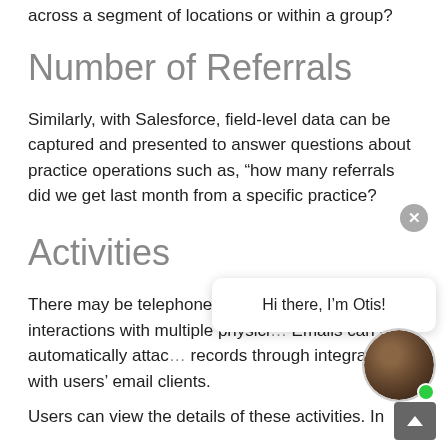across a segment of locations or within a group?
Number of Referrals
Similarly, with Salesforce, field-level data can be captured and presented to answer questions about practice operations such as, “how many referrals did we get last month from a specific practice?
Activities
There may be telephone and email outreach and interactions with multiple physici… Emails can be automatically attac… records through integration with users’ email clients.
Users can view the details of these activities. In addition…